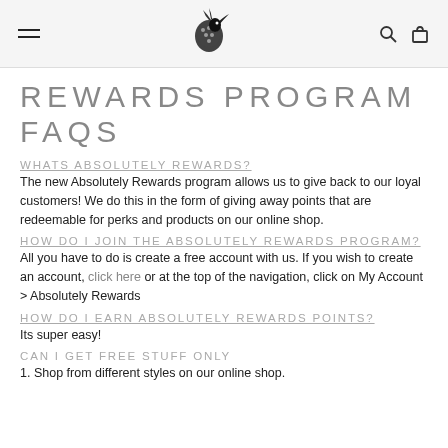Navigation header with hamburger menu, logo, search and cart icons
REWARDS PROGRAM FAQS
WHATS ABSOLUTELY REWARDS?
The new Absolutely Rewards program allows us to give back to our loyal customers! We do this in the form of giving away points that are redeemable for perks and products on our online shop.
HOW DO I JOIN THE ABSOLUTELY REWARDS PROGRAM?
All you have to do is create a free account with us. If you wish to create an account, click here or at the top of the navigation, click on My Account > Absolutely Rewards
HOW DO I EARN ABSOLUTELY REWARDS POINTS?
Its super easy!
CAN I GET FREE STUFF ONLY
1. Shop from different styles on our online shop.